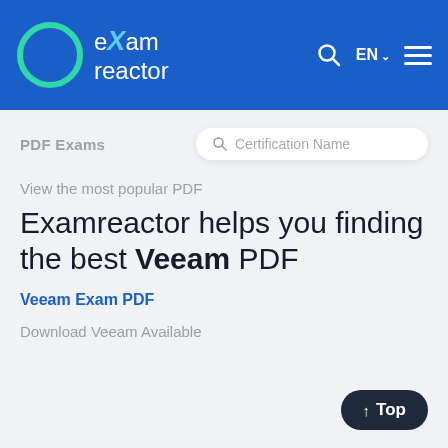[Figure (logo): eXam reactor logo with green circle and white text on blue header background]
PDF Exams
[Figure (screenshot): Search box with placeholder text 'Certification Name']
View the most popular PDF
Examreactor helps you finding the best Veeam PDF
Veeam Exam PDF
Download Veeam Available